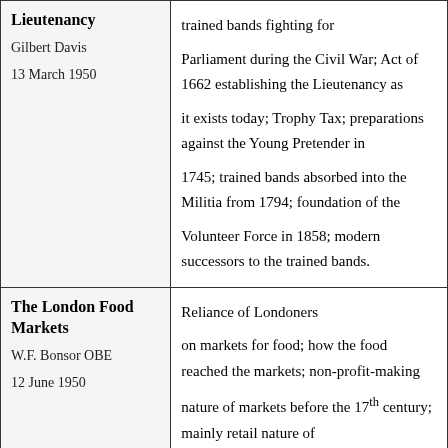| Title/Author/Date | Description |
| --- | --- |
| Lieutenancy
Gilbert Davis
13 March 1950 | trained bands fighting for Parliament during the Civil War; Act of 1662 establishing the Lieutenancy as it exists today; Trophy Tax; preparations against the Young Pretender in 1745; trained bands absorbed into the Militia from 1794; foundation of the Volunteer Force in 1858; modern successors to the trained bands. |
| The London Food Markets
W.F. Bonsor OBE
12 June 1950 | Reliance of Londoners on markets for food; how the food reached the markets; non-profit-making nature of markets before the 17th century; mainly retail nature of London's markets; effect of London's markets on the Home Counties and further |